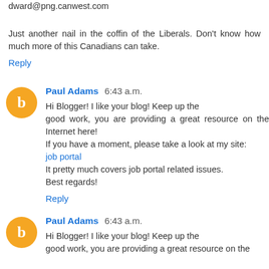dward@png.canwest.com
Just another nail in the coffin of the Liberals. Don't know how much more of this Canadians can take.
Reply
Paul Adams 6:43 a.m.
Hi Blogger! I like your blog! Keep up the good work, you are providing a great resource on the Internet here!
If you have a moment, please take a look at my site:
job portal
It pretty much covers job portal related issues.
Best regards!
Reply
Paul Adams 6:43 a.m.
Hi Blogger! I like your blog! Keep up the good work, you are providing a great resource on the